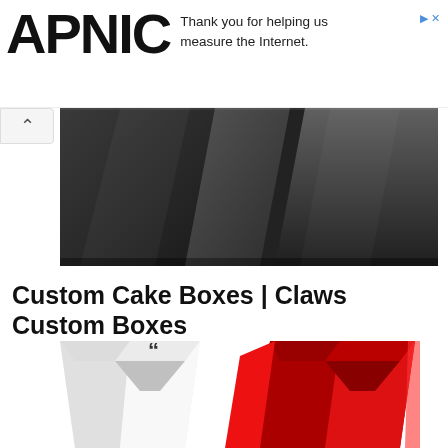APNIC
Thank you for helping us measure the Internet.
[Figure (photo): Dark gray/charcoal geometric abstract image with angular faceted shapes forming a banner header]
Custom Cake Boxes | Claws Custom Boxes
Custom cake boxes nicely protect your products. these packaging boxes make...
belaahezal   1 year ago
[Figure (photo): Product packaging boxes: white box on left, red box on right, with geometric angular designs]